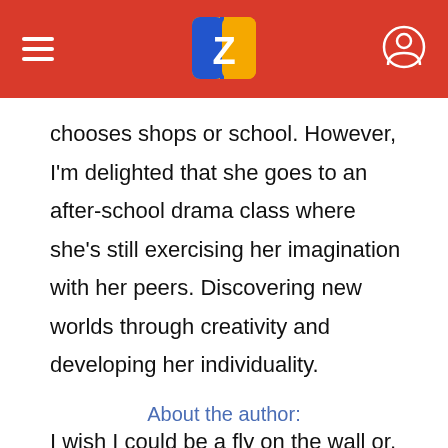Zookal app header with logo
chooses shops or school. However, I'm delighted that she goes to an after-school drama class where she's still exercising her imagination with her peers. Discovering new worlds through creativity and developing her individuality.

I wish I could be a fly on the wall or, better still, join in.
About the author: